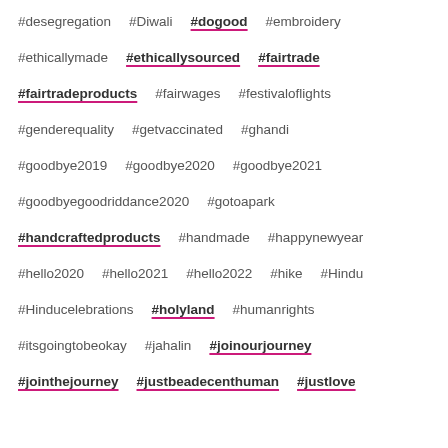#desegregation  #Diwali  #dogood  #embroidery
#ethicallymade  #ethicallysourced  #fairtrade
#fairtradeproducts  #fairwages  #festivaloflights
#genderequality  #getvaccinated  #ghandi
#goodbye2019  #goodbye2020  #goodbye2021
#goodbyegoodriddance2020  #gotoapark
#handcraftedproducts  #handmade  #happynewyear
#hello2020  #hello2021  #hello2022  #hike  #Hindu
#Hinducelebrations  #holyland  #humanrights
#itsgoingtobeokay  #jahalin  #joinourjourney
#jointhejourney  #justbeadecenthuman  #justlove